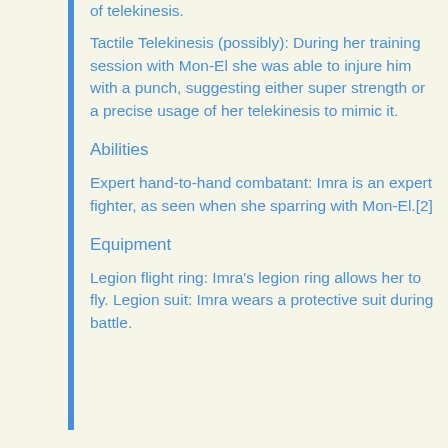of telekinesis.
Tactile Telekinesis (possibly): During her training session with Mon-El she was able to injure him with a punch, suggesting either super strength or a precise usage of her telekinesis to mimic it.
Abilities
Expert hand-to-hand combatant: Imra is an expert fighter, as seen when she sparring with Mon-El.[2]
Equipment
Legion flight ring: Imra's legion ring allows her to fly. Legion suit: Imra wears a protective suit during battle.